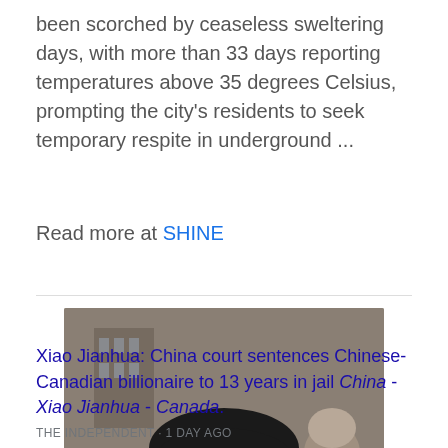been scorched by ceaseless sweltering days, with more than 33 days reporting temperatures above 35 degrees Celsius, prompting the city's residents to seek temporary respite in underground ...
Read more at SHINE
[Figure (photo): Portrait photo of Xiao Jianhua, a Chinese-Canadian billionaire, smiling and wearing glasses and a suit with a striped tie.]
Xiao Jianhua: China court sentences Chinese-Canadian billionaire to 13 years in jail China - Xiao Jianhua - Canada.
THE INDEPENDENT · 1 DAY AGO